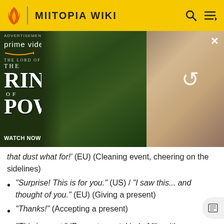MIITOPIA WIKI
[Figure (screenshot): Amazon Prime Video advertisement for The Lord of the Rings: The Rings of Power. Shows text 'prime video', 'THE LORD OF THE RINGS THE RINGS OF POWER', 'WATCH NOW | NEW SERIES' with fantasy characters in background. Right side shows a partially loaded image with a reload icon.]
that dust what for!' (EU) (Cleaning event, cheering on the sidelines)
"Surprise! This is for you." (US) / "I saw this... and thought of you." (EU) (Giving a present)
"Thanks!" (Accepting a present)
"This is great." (Present event, kind of likes it)
"I feel so happy!" (US) / "I'm so happy!" (EU) (Present event, very pleased)
"How did... I'm speechless!" (US) / "I...I don't know what